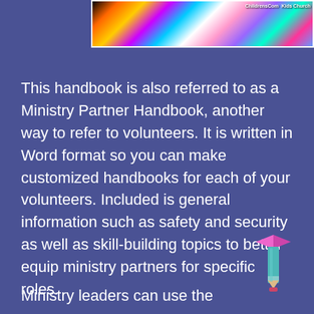[Figure (illustration): Colorful rainbow holographic image with text logos at top right corner reading 'ChildrensCom' and 'Kids Church']
This handbook is also referred to as a Ministry Partner Handbook, another way to refer to volunteers. It is written in Word format so you can make customized handbooks for each of your volunteers. Included is general information such as safety and security as well as skill-building topics to better equip ministry partners for specific roles.
[Figure (illustration): Pencil icon with pink flag/banner at the top, teal/blue pencil body with pink eraser at bottom]
Ministry leaders can use the